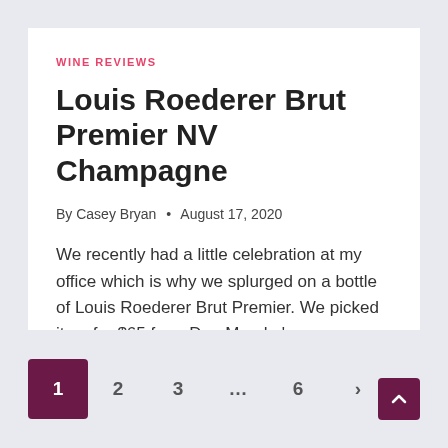WINE REVIEWS
Louis Roederer Brut Premier NV Champagne
By Casey Bryan • August 17, 2020
We recently had a little celebration at my office which is why we splurged on a bottle of Louis Roederer Brut Premier. We picked it up for $65 from Dan Murphy's.
READ MORE →
1 2 3 … 6 >